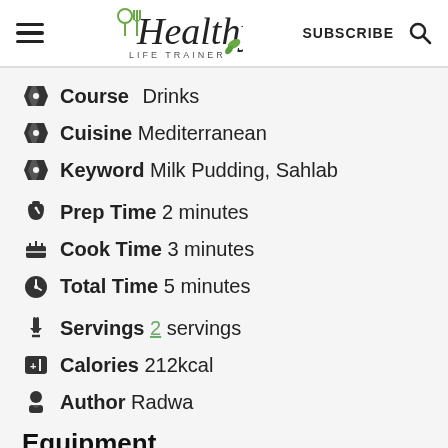Healthy Life Trainer
Course  Drinks
Cuisine  Mediterranean
Keyword  Milk Pudding, Sahlab
Prep Time  2 minutes
Cook Time  3 minutes
Total Time  5 minutes
Servings  2 servings
Calories  212kcal
Author  Radwa
Equipment
Saucepan
Mug